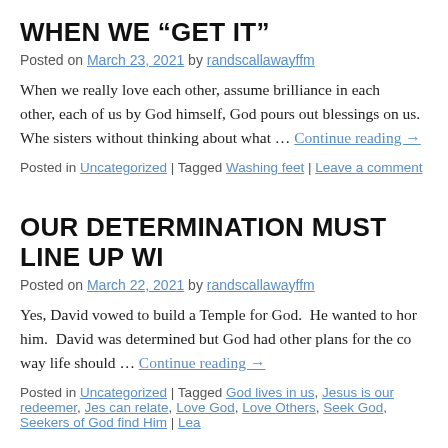WHEN WE “GET IT”
Posted on March 23, 2021 by randscallawayffm
When we really love each other, assume brilliance in each other, each of us by God himself, God pours out blessings on us. When sisters without thinking about what … Continue reading →
Posted in Uncategorized | Tagged Washing feet | Leave a comment
OUR DETERMINATION MUST LINE UP WI
Posted on March 22, 2021 by randscallawayffm
Yes, David vowed to build a Temple for God. He wanted to honor him. David was determined but God had other plans for the con way life should … Continue reading →
Posted in Uncategorized | Tagged God lives in us, Jesus is our redeemer, Jes can relate, Love God, Love Others, Seek God, Seekers of God find Him | Lea